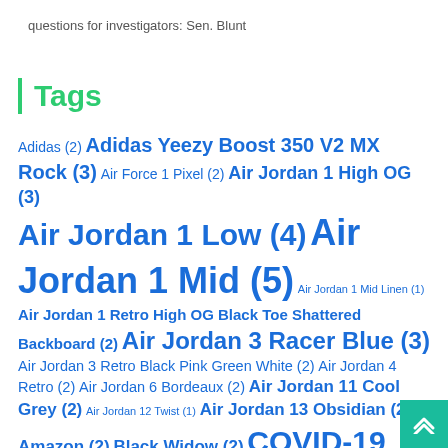questions for investigators: Sen. Blunt
Tags
Adidas (2) Adidas Yeezy Boost 350 V2 MX Rock (3) Air Force 1 Pixel (2) Air Jordan 1 High OG (3) Air Jordan 1 Low (4) Air Jordan 1 Mid (5) Air Jordan 1 Mid Linen (1) Air Jordan 1 Retro High OG Black Toe Shattered Backboard (2) Air Jordan 3 Racer Blue (3) Air Jordan 3 Retro Black Pink Green White (2) Air Jordan 4 Retro (2) Air Jordan 6 Bordeaux (2) Air Jordan 11 Cool Grey (2) Air Jordan 12 Twist (1) Air Jordan 13 Obsidian (2) Amazon (2) Black Widow (2) COVID-19 (4) DIY (2) Euro 2020 (3) Footwear (2) heatwave (2) Louis Vuitton (2) NBA (2) Nike Air Force 1 (7) Nike Air Force 1 07 (3) Nike Air Force 1 High